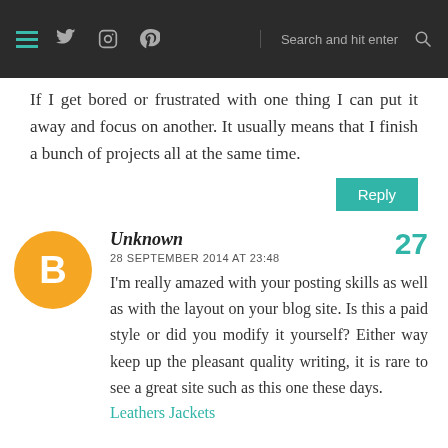Navigation bar with menu, social icons (Twitter, Instagram, Pinterest), search field
If I get bored or frustrated with one thing I can put it away and focus on another. It usually means that I finish a bunch of projects all at the same time.
Reply
[Figure (illustration): Orange circle avatar with white Blogger 'B' logo icon]
Unknown
28 SEPTEMBER 2014 AT 23:48
27
I'm really amazed with your posting skills as well as with the layout on your blog site. Is this a paid style or did you modify it yourself? Either way keep up the pleasant quality writing, it is rare to see a great site such as this one these days.
Leathers Jackets